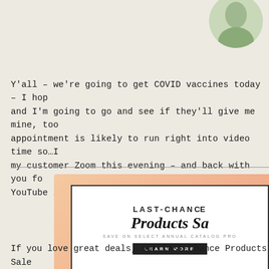[Figure (photo): Circular profile photo of a person, partially visible in upper right corner]
Y'all – we're going to get COVID vaccines today – I hop and I'm going to go and see if they'll give me mine, too appointment is likely to run right into video time so…I my customer Zoom this evening – and back with you fo YouTube live next week!
[Figure (infographic): Advertisement banner for Last-Chance Products Sale on peach/coral gradient background with white inner box. Text reads: LAST-CHANCE Products Sa (cut off), SAVE ON SELECT ANNUAL CATALOG PRO (cut off), LEARN MORE button.]
If you love great deals, our Last-Chance Products Sale